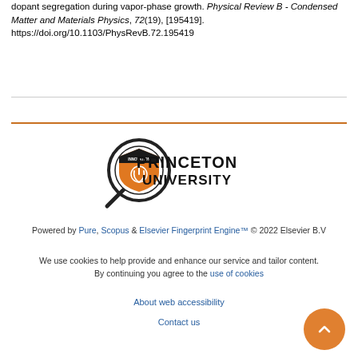dopant segregation during vapor-phase growth. Physical Review B - Condensed Matter and Materials Physics, 72(19), [195419]. https://doi.org/10.1103/PhysRevB.72.195419
[Figure (logo): Princeton University logo with magnifying glass icon and text PRINCETON UNIVERSITY]
Powered by Pure, Scopus & Elsevier Fingerprint Engine™ © 2022 Elsevier B.V
We use cookies to help provide and enhance our service and tailor content. By continuing you agree to the use of cookies
About web accessibility
Contact us